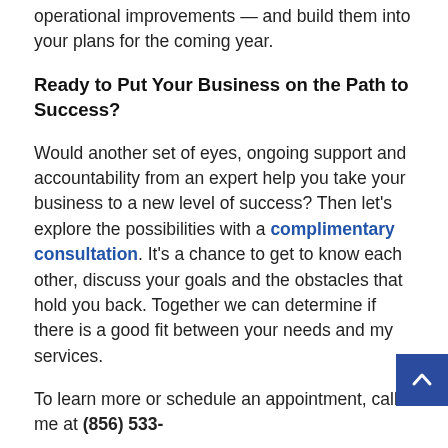operational improvements — and build them into your plans for the coming year.
Ready to Put Your Business on the Path to Success?
Would another set of eyes, ongoing support and accountability from an expert help you take your business to a new level of success? Then let's explore the possibilities with a complimentary consultation. It's a chance to get to know each other, discuss your goals and the obstacles that hold you back. Together we can determine if there is a good fit between your needs and my services.
To learn more or schedule an appointment, call me at (856) 533-